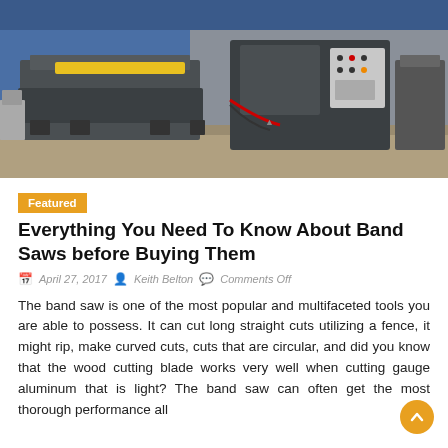[Figure (photo): Industrial band saw machine in a factory/workshop setting. Large grey/dark metal machine with control panel visible, yellow safety bar, concrete floor, blue wall in background.]
Featured
Everything You Need To Know About Band Saws before Buying Them
April 27, 2017   Keith Belton   Comments Off
The band saw is one of the most popular and multifaceted tools you are able to possess. It can cut long straight cuts utilizing a fence, it might rip, make curved cuts, cuts that are circular, and did you know that the wood cutting blade works very well when cutting gauge aluminum that is light? The band saw can often get the most thorough performance all...